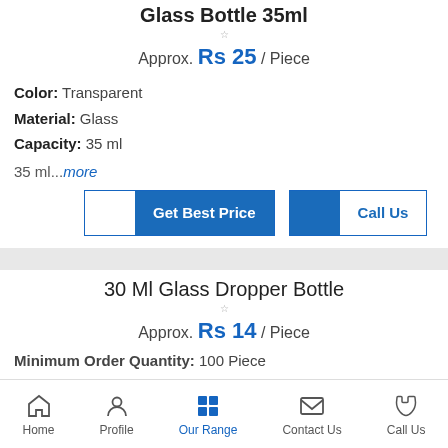Glass Bottle 35ml
Approx. Rs 25 / Piece
Color: Transparent
Material: Glass
Capacity: 35 ml
35 ml...more
[Figure (other): Get Best Price and Call Us buttons]
30 Ml Glass Dropper Bottle
Approx. Rs 14 / Piece
Minimum Order Quantity: 100 Piece
Home | Profile | Our Range | Contact Us | Call Us